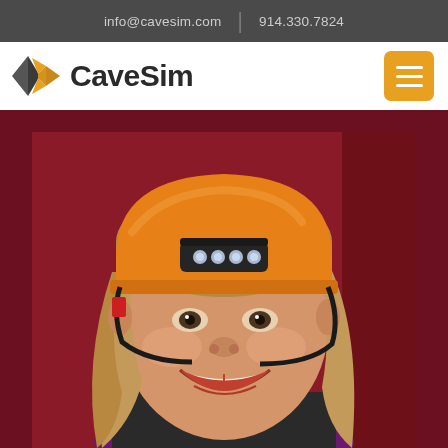info@cavesim.com  |  914.330.7824
[Figure (logo): CaveSim logo with diamond/arrow icon and company name in bold dark text]
[Figure (photo): Smiling young girl wearing an orange safety helmet with LED headlamp and purple bandana, posed against a dark red/maroon background frame]